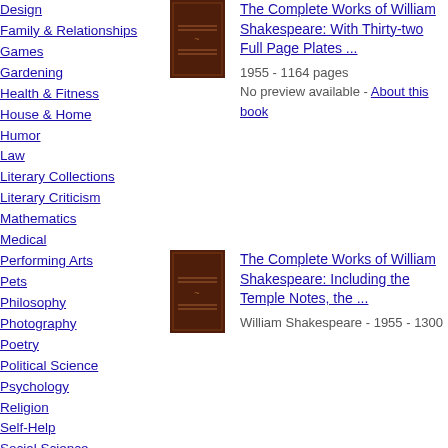Design
Family & Relationships
Games
Gardening
Health & Fitness
House & Home
Humor
Law
Literary Collections
Literary Criticism
Mathematics
Medical
Performing Arts
Pets
Philosophy
Photography
Poetry
Political Science
Psychology
Religion
Self-Help
Social Science
[Figure (illustration): Brown book cover thumbnail for The Complete Works of William Shakespeare]
The Complete Works of William Shakespeare: With Thirty-two Full Page Plates ...
1955 - 1164 pages
No preview available - About this book
[Figure (illustration): Brown book cover thumbnail for The Complete Works of William Shakespeare: Including the Temple Notes]
The Complete Works of William Shakespeare: Including the Temple Notes, the ...
William Shakespeare - 1955 - 1300